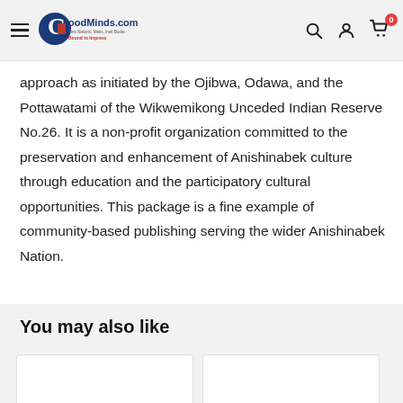GoodMinds.com — First Nations, Metis, Inuit Books. Bound to Impress.
approach as initiated by the Ojibwa, Odawa, and the Pottawatami of the Wikwemikong Unceded Indian Reserve No.26. It is a non-profit organization committed to the preservation and enhancement of Anishinabek culture through education and the participatory cultural opportunities. This package is a fine example of community-based publishing serving the wider Anishinabek Nation.
You may also like
[Figure (other): Product card placeholder (white rectangle)]
[Figure (other): Product card placeholder (white rectangle, partially visible)]